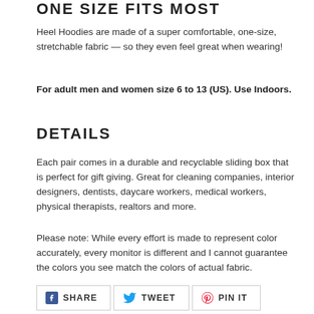ONE SIZE FITS MOST
Heel Hoodies are made of a super comfortable, one-size, stretchable fabric — so they even feel great when wearing!
For adult men and women size 6 to 13 (US). Use Indoors.
DETAILS
Each pair comes in a durable and recyclable sliding box that is perfect for gift giving. Great for cleaning companies, interior designers, dentists, daycare workers, medical workers, physical therapists, realtors and more.
Please note: While every effort is made to represent color accurately, every monitor is different and I cannot guarantee the colors you see match the colors of actual fabric.
SHARE   TWEET   PIN IT